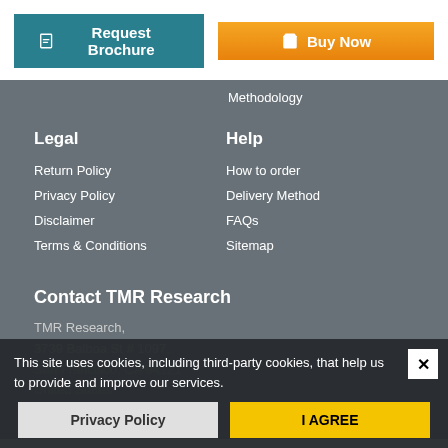Request Brochure
Buy Now
Methodology
Legal
Help
Return Policy
How to order
Privacy Policy
Delivery Method
Disclaimer
FAQs
Terms & Conditions
Sitemap
Contact TMR Research
TMR Research,
3739 Balboa St # 1097,
San Francisco, CA 94121
United States
This site uses cookies, including third-party cookies, that help us to provide and improve our services.
Privacy Policy
I AGREE